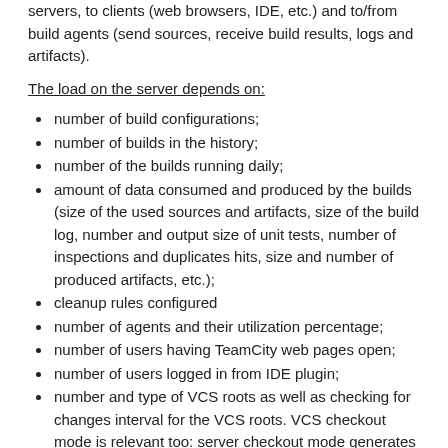servers, to clients (web browsers, IDE, etc.) and to/from build agents (send sources, receive build results, logs and artifacts).
The load on the server depends on:
number of build configurations;
number of builds in the history;
number of the builds running daily;
amount of data consumed and produced by the builds (size of the used sources and artifacts, size of the build log, number and output size of unit tests, number of inspections and duplicates hits, size and number of produced artifacts, etc.);
cleanup rules configured
number of agents and their utilization percentage;
number of users having TeamCity web pages open;
number of users logged in from IDE plugin;
number and type of VCS roots as well as checking for changes interval for the VCS roots. VCS checkout mode is relevant too: server checkout mode generates greater server load. Specific types of VCS also affect server load, but they can be roughly estimated based on native VCS client performance;